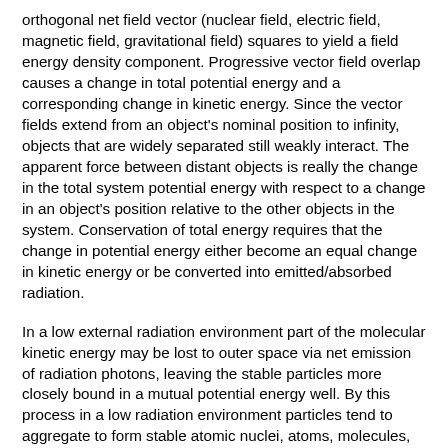orthogonal net field vector (nuclear field, electric field, magnetic field, gravitational field) squares to yield a field energy density component. Progressive vector field overlap causes a change in total potential energy and a corresponding change in kinetic energy. Since the vector fields extend from an object's nominal position to infinity, objects that are widely separated still weakly interact. The apparent force between distant objects is really the change in the total system potential energy with respect to a change in an object's position relative to the other objects in the system. Conservation of total energy requires that the change in potential energy either become an equal change in kinetic energy or be converted into emitted/absorbed radiation.
In a low external radiation environment part of the molecular kinetic energy may be lost to outer space via net emission of radiation photons, leaving the stable particles more closely bound in a mutual potential energy well. By this process in a low radiation environment particles tend to aggregate to form stable atomic nuclei, atoms, molecules, liquids, crystals, rocks, planets and stars.
At steady state the rate of energy absorption by particles bound in a mutual potential energy well equals the rate of